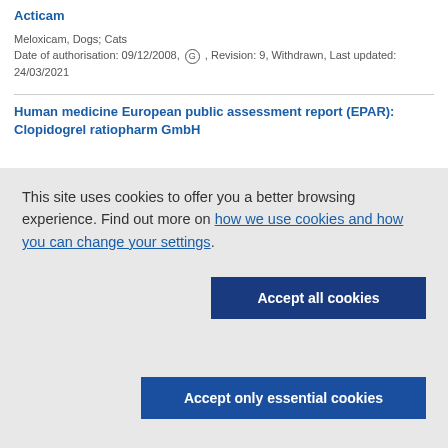Acticam
Meloxicam, Dogs; Cats
Date of authorisation: 09/12/2008, G , Revision: 9, Withdrawn, Last updated: 24/03/2021
Human medicine European public assessment report (EPAR): Clopidogrel ratiopharm GmbH
This site uses cookies to offer you a better browsing experience. Find out more on how we use cookies and how you can change your settings.